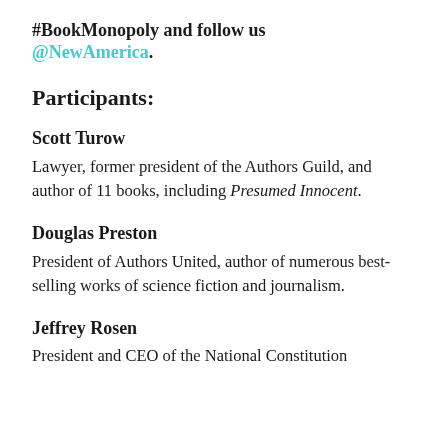#BookMonopoly and follow us @NewAmerica.
Participants:
Scott Turow
Lawyer, former president of the Authors Guild, and author of 11 books, including Presumed Innocent.
Douglas Preston
President of Authors United, author of numerous best-selling works of science fiction and journalism.
Jeffrey Rosen
President and CEO of the National Constitution